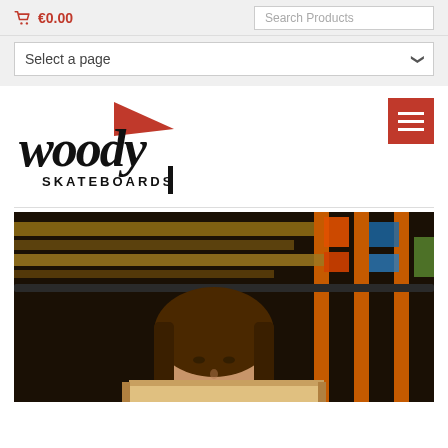🛒 €0.00 | Search Products
Select a page
[Figure (logo): Woody Skateboards logo with red triangle and handwritten-style text]
[Figure (photo): Person looking over a stack of wooden skateboard decks in a workshop/warehouse with shelves in background]